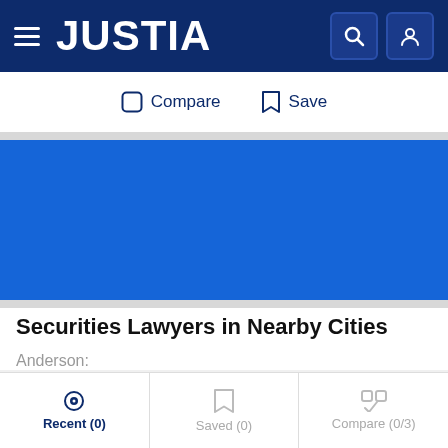[Figure (screenshot): Justia website navigation bar with hamburger menu, JUSTIA logo, search icon, and user icon on dark blue background]
Compare  Save
[Figure (other): Blue advertisement block]
Securities Lawyers in Nearby Cities
Anderson:
Recent (0)  Saved (0)  Compare (0/3)